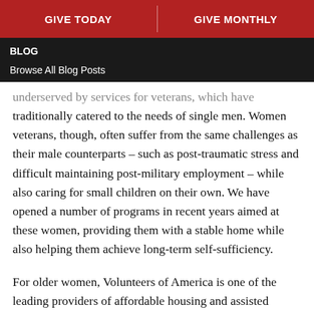GIVE TODAY | GIVE MONTHLY
BLOG
Browse All Blog Posts
underserved by services for veterans, which have traditionally catered to the needs of single men. Women veterans, though, often suffer from the same challenges as their male counterparts – such as post-traumatic stress and difficult maintaining post-military employment – while also caring for small children on their own. We have opened a number of programs in recent years aimed at these women, providing them with a stable home while also helping them achieve long-term self-sufficiency.
For older women, Volunteers of America is one of the leading providers of affordable housing and assisted